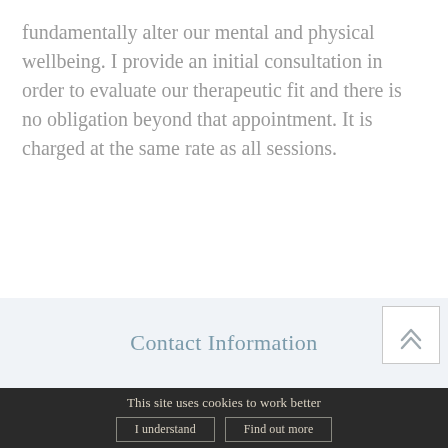fundamentally alter our mental and physical wellbeing. I provide an initial consultation in order to evaluate our therapeutic fit and there is no obligation beyond that appointment. It is charged at the same rate as all sessions.
Contact Information
This site uses cookies to work better
I understand
Find out more